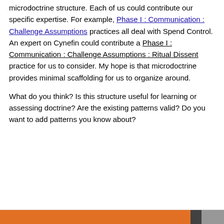microdoctrine structure. Each of us could contribute our specific expertise. For example, Phase I : Communication : Challenge Assumptions practices all deal with Spend Control. An expert on Cynefin could contribute a Phase I : Communication : Challenge Assumptions : Ritual Dissent practice for us to consider. My hope is that microdoctrine provides minimal scaffolding for us to organize around.
What do you think? Is this structure useful for learning or assessing doctrine? Are the existing patterns valid? Do you want to add patterns you know about?
Privacy & Cookies: This site uses cookies. By continuing to use this website, you agree to their use. To find out more, including how to control cookies, see here: Cookie Policy